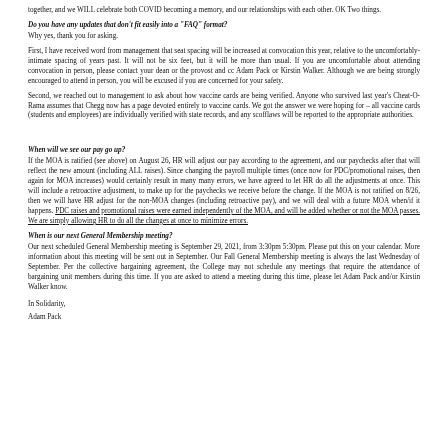together, and we WILL celebrate both COVID becoming a memory, and our relationships with each other. OK Two things.
Do you have any updates that don't fit easily into a "FAQ" format?
Why yes, thank you for asking.
First, I have received word from management that seat spacing will be increased at convocation this year, relative to the uncomfortably-intimate spacing of years past. It will not be six feet, but it will be more than usual. If you are uncomfortable about attending convocation in person, please contact your dean or the provost and cc Adam Pack or Kirstin Walker. Although we are being strongly encouraged to attend in person, you will be excused if you are concerned for your safety.
Second, we reached out to management to ask about how vaccine cards are being verified. Anyone who survived last year's Cheat-O-Rama assumes that Chegg now has a page devoted entirely to vaccine cards. We got the answer we were hoping for – all vaccine cards (students and employees) are individually verified with state records, and any scofflaws will be reported to the appropriate authorities.
When will we see our pay go up?
If the MOA is ratified (see above) on August 26, HR will adjust our pay according to the agreement, and our paychecks after that will reflect the new amount (including ALL raises). Since changing the payroll multiple times (once now for PDC/promotional raises, then again for MOA increases) would certainly result in many many errors, we have agreed to let HR do all the adjustments at once. This will include a retroactive adjustment, to make up for the paychecks we receive before the change. If the MOA is not ratified on 8/26, then we will have HR adjust for the non-MOA changes (including retroactive pay), and we will deal with a future MOA when/if it happens. PDC raises and promotional raises were earned independently of the MOA, and will be added whether or not the MOA passes. We are simply allowing HR to do all the changes at once to minimize errors.
When is our next General Membership meeting?
Our next scheduled General Membership meeting is September 29, 2021, from 3:30pm 5:30pm. Please put this on your calendar. More information about this meeting will be sent out in September. Our Fall General Membership meeting is always the last Wednesday of September. Per the collective bargaining agreement, the College may not schedule any meetings that require the attendance of bargaining unit members during this time. If you are asked to attend a meeting during this time, please let Adam Pack and/or Kirstin Walker know.
In Solidarity,
Adam Pack